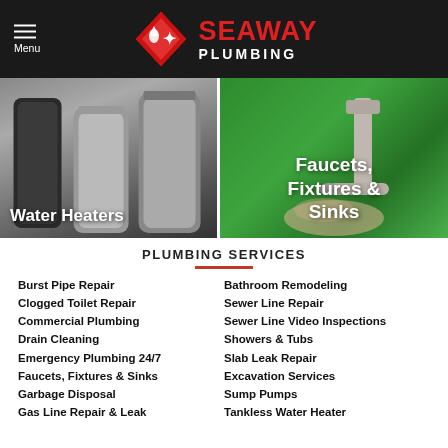Seaway Plumbing — Menu / Navigation Header
[Figure (photo): Photo of water heater tanks with text overlay 'Water Heaters']
[Figure (photo): Photo of faucet fixture with text overlay 'Faucets, Fixtures & Sinks']
PLUMBING SERVICES
Burst Pipe Repair
Clogged Toilet Repair
Commercial Plumbing
Drain Cleaning
Emergency Plumbing 24/7
Faucets, Fixtures & Sinks
Garbage Disposal
Gas Line Repair & Leak
Bathroom Remodeling
Sewer Line Repair
Sewer Line Video Inspections
Showers & Tubs
Slab Leak Repair
Excavation Services
Sump Pumps
Tankless Water Heater